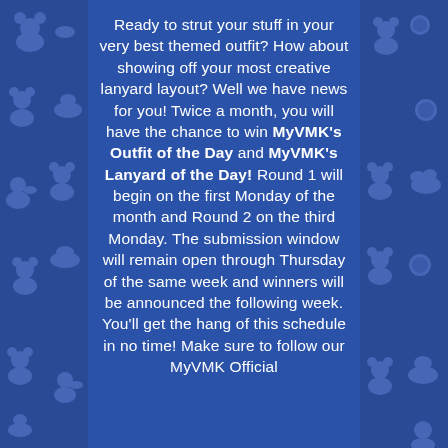Ready to strut your stuff in your very best themed outfit? How about showing off your most creative lanyard layout? Well we have news for you! Twice a month, you will have the chance to win MyVMK's Outfit of the Day and MyVMK's Lanyard of the Day! Round 1 will begin on the first Monday of the month and Round 2 on the third Monday. The submission window will remain open through Thursday of the same week and winners will be announced the following week. You'll get the hang of this schedule in no time! Make sure to follow our MyVMK Official